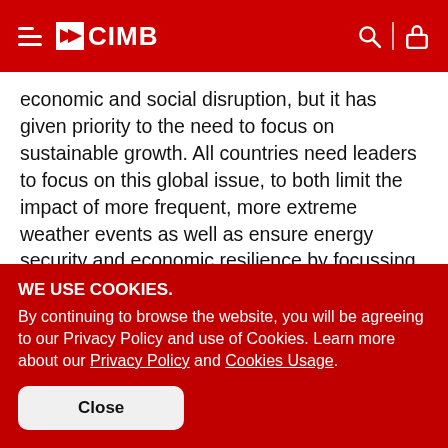CIMB
economic and social disruption, but it has given priority to the need to focus on sustainable growth. All countries need leaders to focus on this global issue, to both limit the impact of more frequent, more extreme weather events as well as ensure energy security and economic resilience by focussing on low emissions industries of the future. CIMB today joins a growing list of global financial leaders proactively addressing the financial risks of climate change.”
WE USE COOKIES.
By continuing to browse the website, you will be agreeing to our Privacy Policy and use of Cookies. Learn more about our Privacy Policy and Cookies Usage.
Close